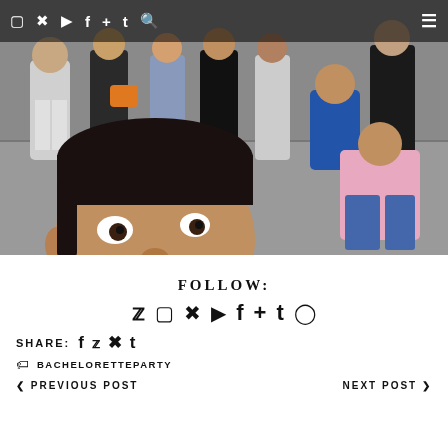[Figure (photo): Group selfie photo: a man with dark hair and beard taking a selfie in the foreground, with a group of people standing behind him outdoors on a paved area. Some people are wearing casual clothes. One man in blue blazer crouching, another in pink shirt crouching on the right.]
Social media navigation bar with icons: Instagram, Pinterest, YouTube, Facebook, Google+, Tumblr, Search, Hamburger menu
FOLLOW:
Follow social icons: Twitter, Instagram, Pinterest, YouTube, Facebook, Google+, Tumblr, Spotify
SHARE: Facebook, Twitter, Pinterest, Tumblr
BACHELORETTEPARTY
< PREVIOUS POST    NEXT POST >